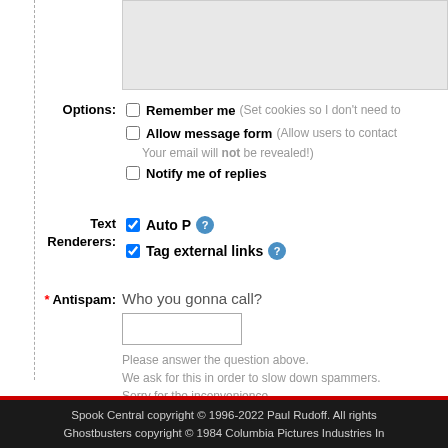[Figure (screenshot): Top portion of a web comment form showing a gray textarea area at the top]
Options: ☐ Remember me (Set cookies so I don't need to ☐ Allow message form (Allow users to contact you - Your email will not be revealed!) ☐ Notify me of replies
Text Renderers: ☑ Auto P ? ☑ Tag external links ?
* Antispam: Who you gonna call? [input field] Please answer the question above. We ask for this in order to slow down spammers. Sorry for the inconvenience. Please log in to avoid this antispam check.
Preview  Send comment
Spook Central copyright © 1996-2022 Paul Rudoff. All rights Ghostbusters copyright © 1984 Columbia Pictures Industries In